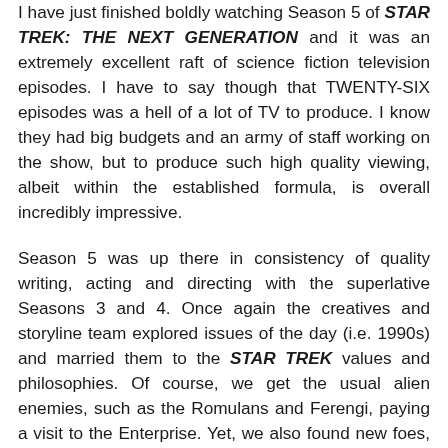I have just finished boldly watching Season 5 of STAR TREK: THE NEXT GENERATION and it was an extremely excellent raft of science fiction television episodes. I have to say though that TWENTY-SIX episodes was a hell of a lot of TV to produce. I know they had big budgets and an army of staff working on the show, but to produce such high quality viewing, albeit within the established formula, is overall incredibly impressive.
Season 5 was up there in consistency of quality writing, acting and directing with the superlative Seasons 3 and 4. Once again the creatives and storyline team explored issues of the day (i.e. 1990s) and married them to the STAR TREK values and philosophies. Of course, we get the usual alien enemies, such as the Romulans and Ferengi, paying a visit to the Enterprise. Yet, we also found new foes, obstacles and allies encountering the Enterprise. Lastly, the formidable Michelle Forbes as the Bajoran, Ensign Roe, was a welcome addition to the crew.
Sadly, Gene Roddenberry passed away during this particular